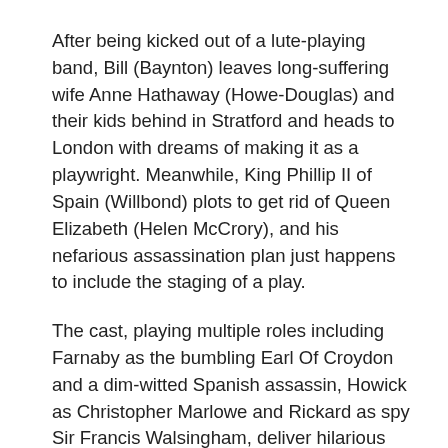After being kicked out of a lute-playing band, Bill (Baynton) leaves long-suffering wife Anne Hathaway (Howe-Douglas) and their kids behind in Stratford and heads to London with dreams of making it as a playwright. Meanwhile, King Phillip II of Spain (Willbond) plots to get rid of Queen Elizabeth (Helen McCrory), and his nefarious assassination plan just happens to include the staging of a play.
The cast, playing multiple roles including Farnaby as the bumbling Earl Of Croydon and a dim-witted Spanish assassin, Howick as Christopher Marlowe and Rickard as spy Sir Francis Walsingham, deliver hilarious performances in this enjoyably daft tale. And while the jokes don't always come thick and fast, this Tudor treat has just the right mix of Blackadder wit and Horrible Histories silliness to achieve that very tricky goal of